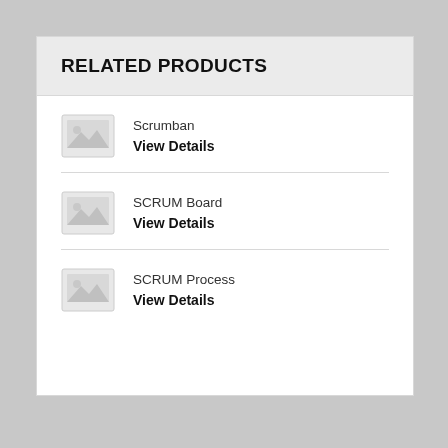RELATED PRODUCTS
Scrumban
View Details
SCRUM Board
View Details
SCRUM Process
View Details